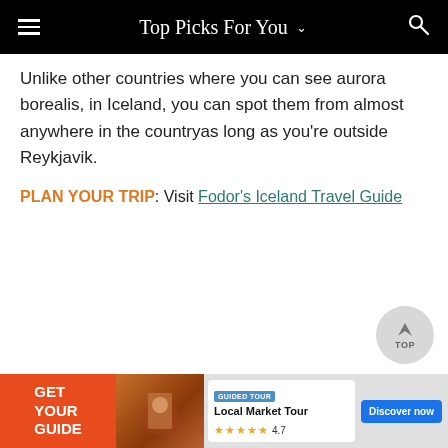Top Picks For You
Unlike other countries where you can see aurora borealis, in Iceland, you can spot them from almost anywhere in the country as long as you're outside Reykjavik.
PLAN YOUR TRIP: Visit Fodor's Iceland Travel Guide
[Figure (screenshot): Back to top circular button with upward arrow and text TOP]
[Figure (screenshot): Advertisement banner: GET YOUR GUIDE - Local Market Tour, Guided Tour badge, 4.7 stars, Discover now button]